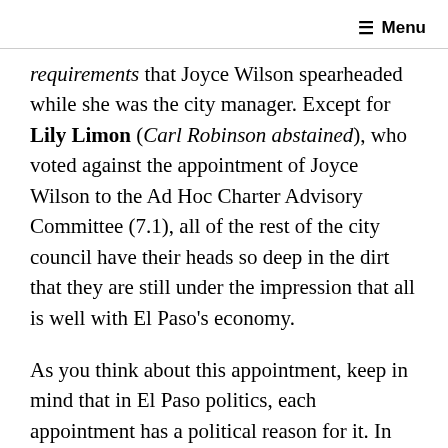≡ Menu
requirements that Joyce Wilson spearheaded while she was the city manager. Except for Lily Limon (Carl Robinson abstained), who voted against the appointment of Joyce Wilson to the Ad Hoc Charter Advisory Committee (7.1), all of the rest of the city council have their heads so deep in the dirt that they are still under the impression that all is well with El Paso's economy.
As you think about this appointment, keep in mind that in El Paso politics, each appointment has a political reason for it. In this case, Joyce